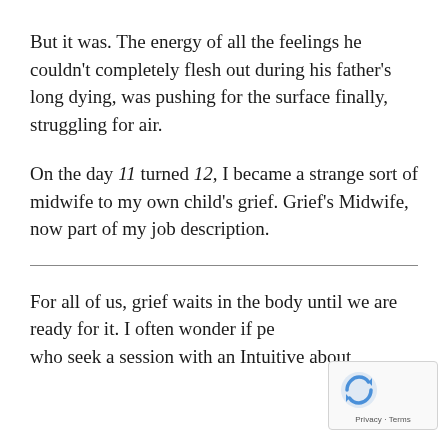But it was. The energy of all the feelings he couldn't completely flesh out during his father's long dying, was pushing for the surface finally, struggling for air.
On the day 11 turned 12, I became a strange sort of midwife to my own child's grief. Grief's Midwife, now part of my job description.
For all of us, grief waits in the body until we are ready for it. I often wonder if pe… who seek a session with an Intuitive about